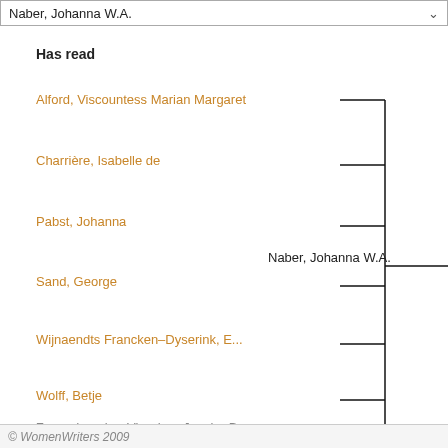Naber, Johanna W.A.
Has read
[Figure (organizational-chart): A bracket/tree diagram showing that Naber, Johanna W.A. has read works by: Alford, Viscountess Marian Margaret; Charrière, Isabelle de; Pabst, Johanna; Sand, George; Wijnaendts Francken–Dyserink, E...; Wolff, Betje; Zwaardemaker-Visscher, Jacoba Ber... All names on the left connect via horizontal lines to a vertical bracket, which then connects via a horizontal line to 'Naber, Johanna W.A.' on the right.]
© WomenWriters 2009